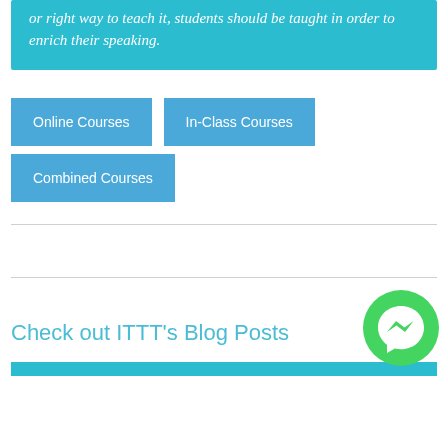or right way to teach it, students should be taught in order to enrich their speaking.
Online Courses
In-Class Courses
Combined Courses
Check out ITTT's Blog Posts
[Figure (logo): Green circular Facebook Messenger icon]